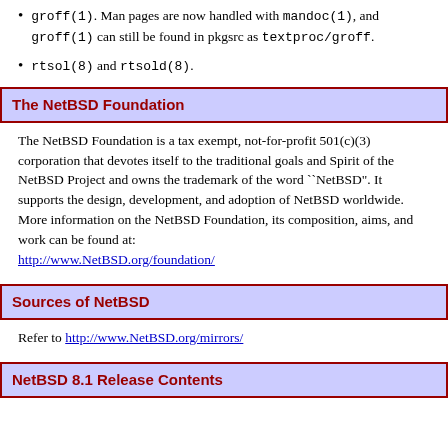groff(1). Man pages are now handled with mandoc(1), and groff(1) can still be found in pkgsrc as textproc/groff.
rtsol(8) and rtsold(8).
The NetBSD Foundation
The NetBSD Foundation is a tax exempt, not-for-profit 501(c)(3) corporation that devotes itself to the traditional goals and Spirit of the NetBSD Project and owns the trademark of the word ``NetBSD". It supports the design, development, and adoption of NetBSD worldwide. More information on the NetBSD Foundation, its composition, aims, and work can be found at: http://www.NetBSD.org/foundation/
Sources of NetBSD
Refer to http://www.NetBSD.org/mirrors/
NetBSD 8.1 Release Contents